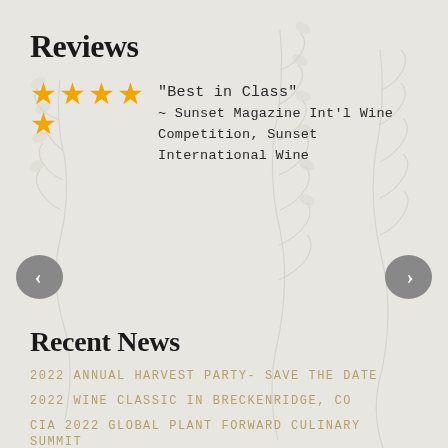Reviews
★★★★★ "Best in Class" ~ Sunset Magazine Int'l Wine Competition, Sunset International Wine
[Figure (other): Left navigation arrow button (grey circle with < symbol)]
[Figure (other): Right navigation arrow button (grey circle with > symbol)]
Recent News
2022 ANNUAL HARVEST PARTY- SAVE THE DATE
2022 WINE CLASSIC IN BRECKENRIDGE, CO
CIA 2022 GLOBAL PLANT FORWARD CULINARY SUMMIT